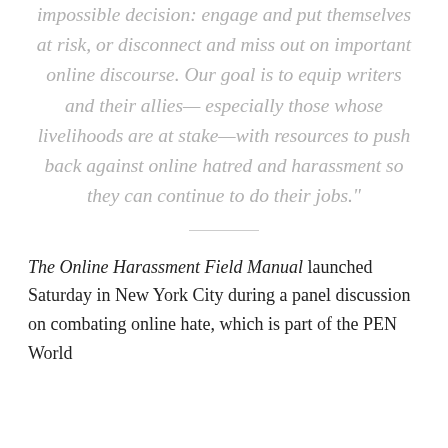impossible decision: engage and put themselves at risk, or disconnect and miss out on important online discourse. Our goal is to equip writers and their allies—especially those whose livelihoods are at stake—with resources to push back against online hatred and harassment so they can continue to do their jobs."
The Online Harassment Field Manual launched Saturday in New York City during a panel discussion on combating online hate, which is part of the PEN World